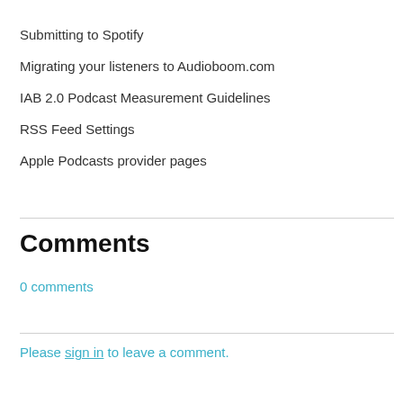Submitting to Spotify
Migrating your listeners to Audioboom.com
IAB 2.0 Podcast Measurement Guidelines
RSS Feed Settings
Apple Podcasts provider pages
Comments
0 comments
Please sign in to leave a comment.